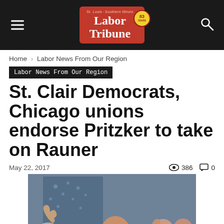[Figure (logo): Labor Tribune newspaper logo in red box with 83 years badge]
Home › Labor News From Our Region
Labor News From Our Region
St. Clair Democrats, Chicago unions endorse Pritzker to take on Rauner
May 22, 2017   👁 386   💬 0
[Figure (photo): Man in dark vest giving thumbs up, surrounded by supporters in orange shirts, appears to be a political rally]